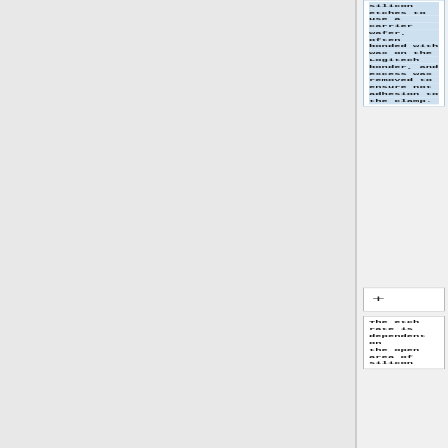silicon etches to use a carrier wafer, often bonded with wax on the Logitech bonder, and excess wax removed to ensure not adhesion to the clamp.
+
The etch rate is dependent on the open area of silicon